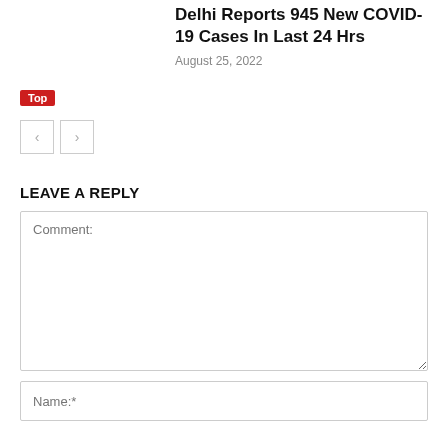Delhi Reports 945 New COVID-19 Cases In Last 24 Hrs
August 25, 2022
Top
LEAVE A REPLY